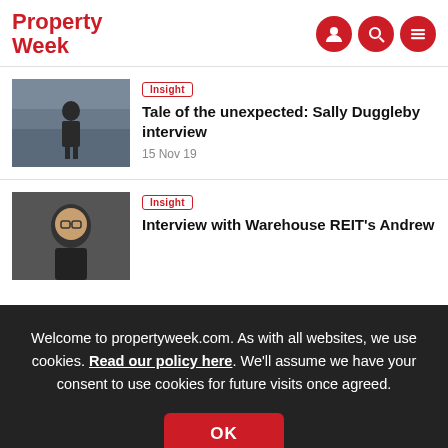Property Week
Insight
Tale of the unexpected: Sally Duggleby interview
15 Nov 19
Insight
Interview with Warehouse REIT's Andrew
Welcome to propertyweek.com. As with all websites, we use cookies. Read our policy here. We'll assume we have your consent to use cookies for future visits once agreed.
OK
8 Nov 19